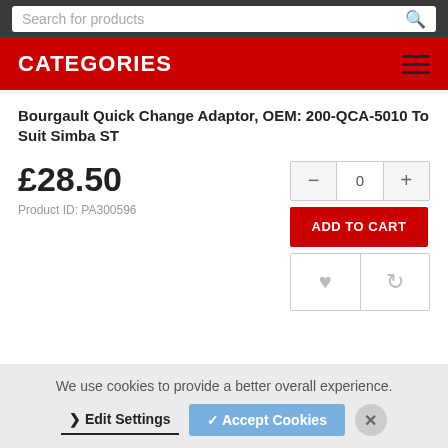Search for products
CATEGORIES
Bourgault Quick Change Adaptor, OEM: 200-QCA-5010 To Suit Simba ST
£28.50
Product ID: PA300596
ADD TO CART
We use cookies to provide a better overall experience.
❯ Edit Settings   ✓ Accept Cookies   ✕